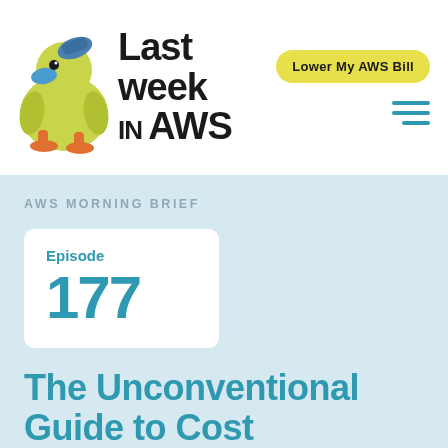[Figure (logo): Last Week in AWS logo with a yellow duck mascot sitting next to bold text reading 'Last week in AWS']
Lower My AWS Bill
AWS MORNING BRIEF
Episode 177
The Unconventional Guide to Cost Management: